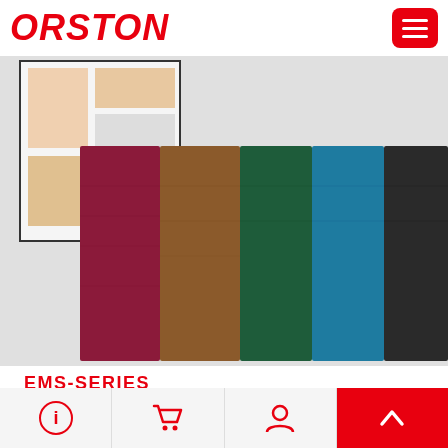ORSTON
[Figure (photo): Product photo showing EMS-Series menu covers fanned out in five colors: dark red/burgundy, brown/tan, dark green, teal/blue, and black, displayed over a light gray textured background. A menu sample is partially visible in upper left.]
EMS-SERIES
$36.90 per unit
[Figure (other): Banner image with ornate text reading PRE-DESINED TIPE on a light beige background with a decorative diamond emblem in the center.]
Navigation bar with info, cart, profile, and scroll-up icons